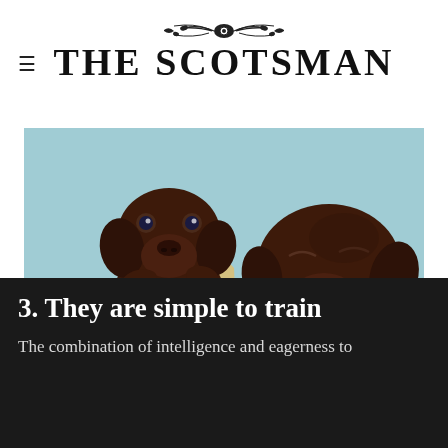THE SCOTSMAN
[Figure (photo): Two chocolate Labrador retriever puppies sitting in and leaning on a cream-colored decorative vase against a light blue background]
3. They are simple to train
The combination of intelligence and eagerness to